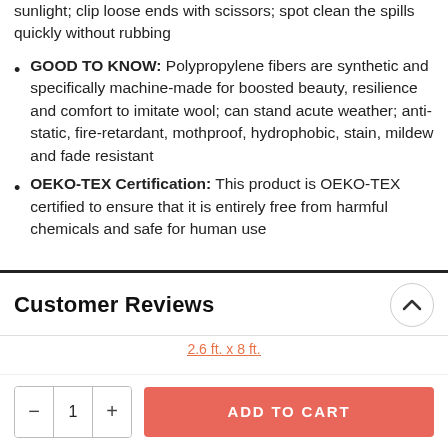sunlight; clip loose ends with scissors; spot clean the spills quickly without rubbing
GOOD TO KNOW: Polypropylene fibers are synthetic and specifically machine-made for boosted beauty, resilience and comfort to imitate wool; can stand acute weather; anti-static, fire-retardant, mothproof, hydrophobic, stain, mildew and fade resistant
OEKO-TEX Certification: This product is OEKO-TEX certified to ensure that it is entirely free from harmful chemicals and safe for human use
Customer Reviews
2.6 ft. x 8 ft.
ADD TO CART